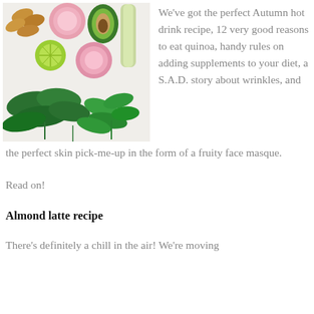[Figure (photo): Flat lay of healthy foods including almonds, avocado, lime, pink bath salts, zucchini/cucumber, spinach, and cilantro/parsley on a white surface.]
We've got the perfect Autumn hot drink recipe, 12 very good reasons to eat quinoa, handy rules on adding supplements to your diet, a S.A.D. story about wrinkles, and the perfect skin pick-me-up in the form of a fruity face masque.
Read on!
Almond latte recipe
There's definitely a chill in the air! We're moving